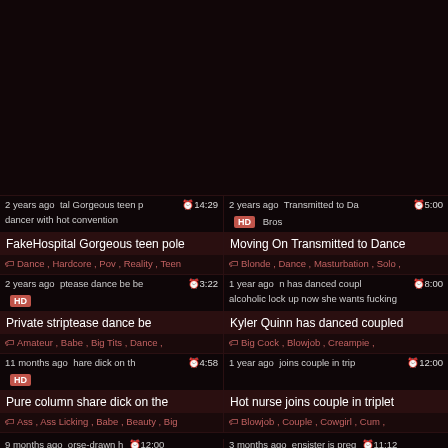[Figure (screenshot): Dark video thumbnail area at top of page, nearly black]
2 years ago | Gorgeous teen p | 14:29 | dancer with hot convention
FakeHospital Gorgeous teen pole
Dance , Hardcore , Pov , Reality , Teen
2 years ago | Transmitted to Da | 5:00 | HD | Bros
Moving On Transmitted to Dance
Blonde , Dance , Masturbation , Solo ,
2 years ago | ptease dance be be | 3:22 | HD
Private striptease dance be
Amateur , Babe , Big Tits , Dance ,
1 year ago | n has danced coupl | 8:00 | alcoholic lock up now she wants fucking
Kyler Quinn has danced coupled
Big Cock , Blowjob , Creampie ,
11 months ago | hare dick on the | 4:58 | HD
Pure column share dick on the
Ass , Ass Licking , Babe , Beauty , Big
1 year ago | joins couple in trip | 12:00
Hot nurse joins couple in triplet
Blowjob , Couple , Cowgirl , Cum ,
9 months ago | orse-drawn h | 12:00
3 months ago | ensister is preg | 11:12